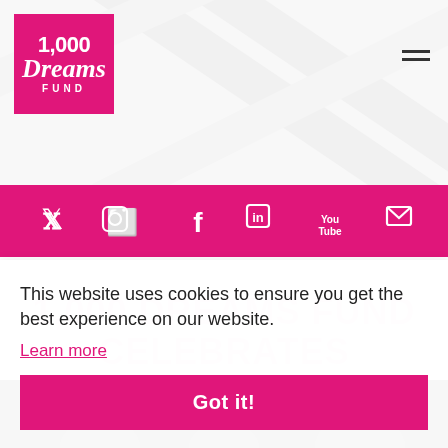[Figure (logo): 1,000 Dreams Fund logo - pink square with white text]
[Figure (infographic): Social media icons bar (Twitter, Instagram, Facebook, LinkedIn, YouTube, Email) on pink background]
1,000 DREAMS FUND CELEBRATES INNOVATORS AT 2017 NORTHSIDE FESTIVAL
This website uses cookies to ensure you get the best experience on our website.
Learn more
Got it!
[Figure (photo): Photo of people at Fortune Venture Stage at The Wythe Hotel event]